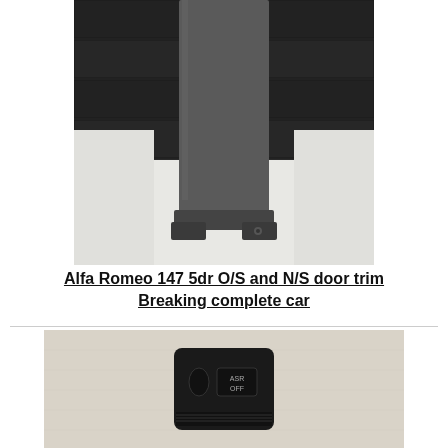[Figure (photo): Alfa Romeo 147 door trim piece, dark grey/black plastic, photographed against white fabric and dark wooden wall background]
Alfa Romeo 147 5dr O/S and N/S door trim
Breaking complete car
[Figure (photo): A black plastic car control module/switch with ASR OFF button, photographed on a light beige fabric background]